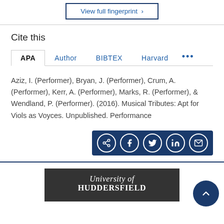[Figure (other): View full fingerprint button with arrow, dark blue border]
Cite this
APA | Author | BIBTEX | Harvard | ...
Aziz, I. (Performer), Bryan, J. (Performer), Crum, A. (Performer), Kerr, A. (Performer), Marks, R. (Performer), & Wendland, P. (Performer). (2016). Musical Tributes: Apt for Viols as Voyces. Unpublished. Performance
[Figure (other): Social share bar with icons for share, Facebook, Twitter, LinkedIn, email on dark blue background]
[Figure (logo): University of Huddersfield logo on dark grey background]